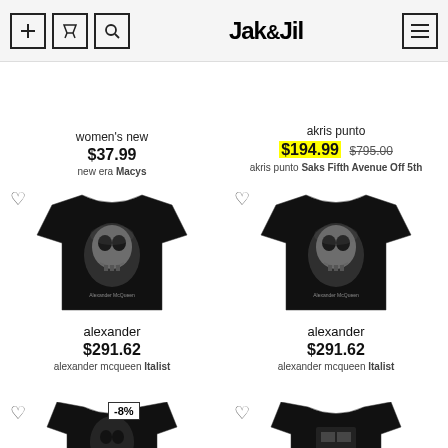Jak&Jil
women's new
$37.99
new era Macys
akris punto
$194.99 $795.00
akris punto Saks Fifth Avenue Off 5th
[Figure (photo): Black Alexander McQueen skull print t-shirt (left)]
alexander
$291.62
alexander mcqueen Italist
[Figure (photo): Black Alexander McQueen skull print t-shirt (right)]
alexander
$291.62
alexander mcqueen Italist
[Figure (photo): Black skull print sweatshirt/top (bottom left), -8% badge]
[Figure (photo): Black top (bottom right, partially visible)]